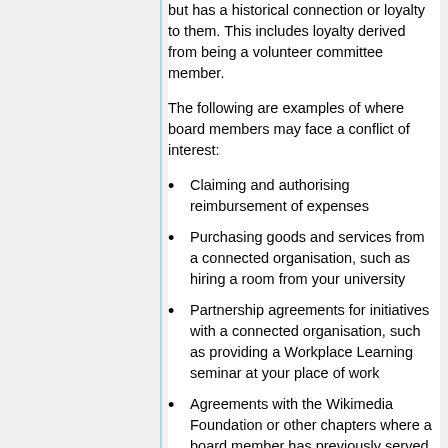but has a historical connection or loyalty to them. This includes loyalty derived from being a volunteer committee member.
The following are examples of where board members may face a conflict of interest:
Claiming and authorising reimbursement of expenses
Purchasing goods and services from a connected organisation, such as hiring a room from your university
Partnership agreements for initiatives with a connected organisation, such as providing a Workplace Learning seminar at your place of work
Agreements with the Wikimedia Foundation or other chapters where a board member has previously served on one of their committees.